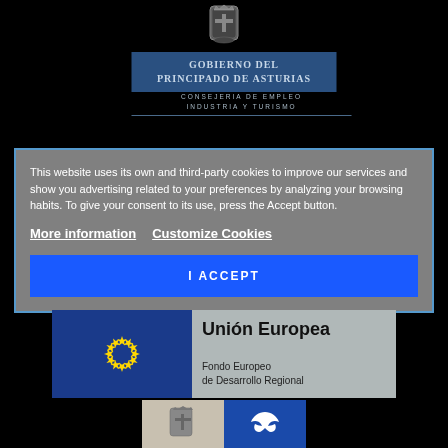[Figure (logo): Coat of arms / escudo del Principado de Asturias - ornate heraldic emblem in grey tones]
[Figure (logo): Gobierno del Principado de Asturias blue banner with text, followed by Consejeria de Empleo Industria y Turismo subtitle]
This website uses its own and third-party cookies to improve our services and show you advertising related to your preferences by analyzing your browsing habits. To give your consent to its use, press the Accept button.
More information   Customize Cookies
I ACCEPT
[Figure (logo): European Union logo: EU flag with circle of gold stars on blue background, plus 'Unión Europea' text and 'Fondo Europeo de Desarrollo Regional']
[Figure (logo): Two bottom logos: left is light beige with coat of arms, right is blue with white bird/eagle icon]